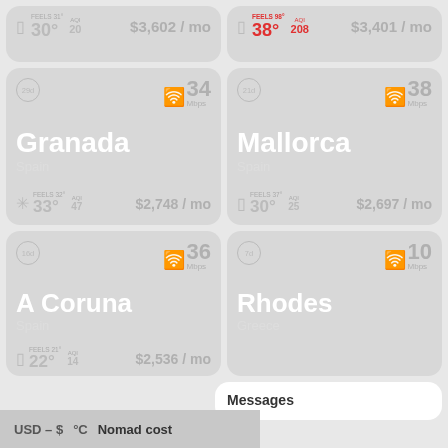[Figure (infographic): City card for an unknown city (top-left): FEELS 31° temp 30°, AQI 20, $3,602/mo]
[Figure (infographic): City card for an unknown city (top-right): FEELS 98° temp 38° hot, AQI 208 hot, $3,401/mo]
[Figure (infographic): City card: Granada, Spain. 29d badge, WiFi 34 Mbps, FEELS 32° temp 33°, AQI 47, $2,748/mo]
[Figure (infographic): City card: Mallorca, Spain. 21d badge, WiFi 38 Mbps, FEELS 37° temp 30°, AQI 25, $2,697/mo]
[Figure (infographic): City card: A Coruna, Spain. 16d badge, WiFi 36 Mbps, FEELS 21° temp 22°, AQI 14, $2,536/mo (partial)]
[Figure (infographic): City card: Rhodes, Greece. 7d badge, WiFi 10 Mbps (partial, no bottom weather shown)]
Messages
USD – $   °C   Nomad cost